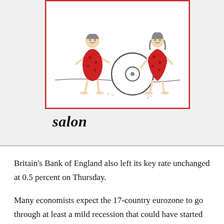[Figure (illustration): A cartoon illustration showing two prehistoric cave-people dressed in red spotted garments standing on either side of a large stone wheel. The figure on the right appears to be leaning on or pushing the wheel. The illustration is framed by a red border rectangle.]
salon
Britain's Bank of England also left its key rate unchanged at 0.5 percent on Thursday.
Many economists expect the 17-country eurozone to go through at least a mild recession that could have started in the last three months of 2011. Rate cuts can